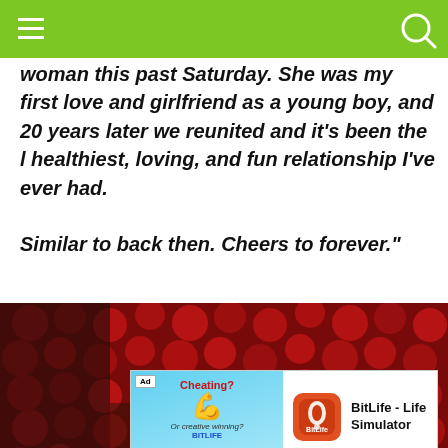woman this past Saturday. She was my first love and girlfriend as a young boy, and 20 years later we reunited and it’s been the l healthiest, loving, and fun relationship I’ve ever had.

Similar to back then. Cheers to forever.”
[Figure (photo): A person stands in front of a large wall of red roses with the cursive neon text 'It was always you' glowing in the background.]
[Figure (screenshot): Advertisement for BitLife - Life Simulator app. Shows a blue background ad image with 'Cheating?' text and a flexing arm emoji graphic, next to the BitLife app icon and name, with an Install! button below.]